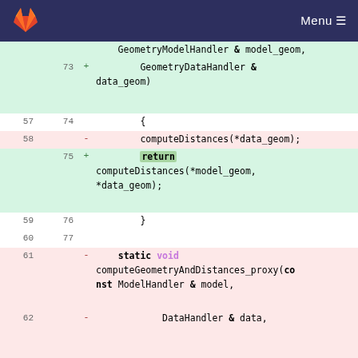GitLab logo | Menu
Code diff view showing changes to a C++ function. Lines 57-77 show neutral/added/removed lines. Lines 61-64 show removed lines for static void computeGeometryAndDistances_proxy(const ModelHandler & model, DataHandler & data, const GeometryModelHandler & model_geom,